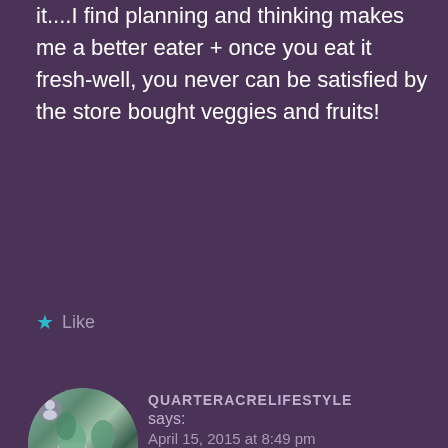it....I find planning and thinking makes me a better eater + once you eat it fresh-well, you never can be satisfied by the store bought veggies and fruits!
Like
QUARTERACRELIFESTYLE says: April 15, 2015 at 8:49 pm
Oh, we certainly aren’t perfect either Robbie! We do live in the days of everything being available and some of it is very yummy lol...I often have trouble passing a bakery! We do